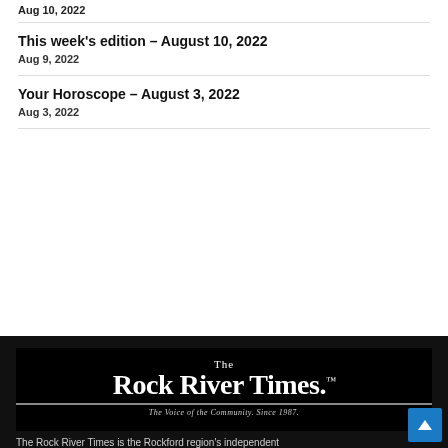Aug 10, 2022
This week's edition – August 10, 2022
Aug 9, 2022
Your Horoscope – August 3, 2022
Aug 3, 2022
[Figure (logo): The Rock River Times logo — large serif white text on black background with tagline 'The Voice of the Community. Since 1987.']
The Rock River Times is the Rockford region's independent